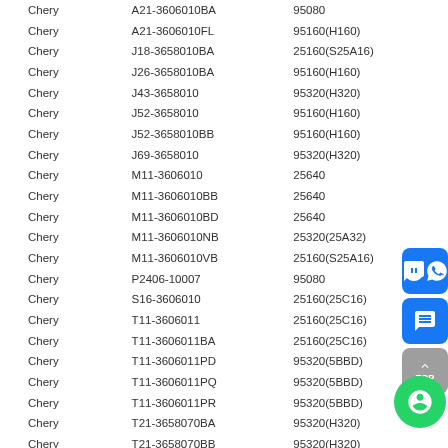| Brand | Part Number | OE Number |
| --- | --- | --- |
| Chery | A21-3606010BA | 95080 |
| Chery | A21-3606010FL | 95160(H160) |
| Chery | J18-3658010BA | 25160(S25A16) |
| Chery | J26-3658010BA | 95160(H160) |
| Chery | J43-3658010 | 95320(H320) |
| Chery | J52-3658010 | 95160(H160) |
| Chery | J52-3658010BB | 95160(H160) |
| Chery | J69-3658010 | 95320(H320) |
| Chery | M11-3606010 | 25640 |
| Chery | M11-3606010BB | 25640 |
| Chery | M11-3606010BD | 25640 |
| Chery | M11-3606010NB | 25320(25A32) |
| Chery | M11-3606010VB | 25160(S25A16) |
| Chery | P2406-10007 | 95080 |
| Chery | S16-3606010 | 25160(25C16) |
| Chery | T11-3606011 | 25160(25C16) |
| Chery | T11-3606011BA | 25160(25C16) |
| Chery | T11-3606011PD | 95320(5BBD) |
| Chery | T11-3606011PQ | 95320(5BBD) |
| Chery | T11-3606011PR | 95320(5BBD) |
| Chery | T21-3658070BA | 95320(H320) |
| Chery | T21-3658070BB | 95320(H320) |
| Chery | T21-3658070FB | 95320(H320) |
| Chery | T21-3658070FC | 95320(H320) |
| Venucia | 28556 2FK0A | XC2336B-... |
| Venucia | 28556 2FL0A | XC2336B-... |
| Venucia | 28556 2GD0A | XC2336B-4... |
| Venucia | 28556 2GG1A | XC2336B-40F |
| Venucia | 28556 3FK0A | XC2336B-40F |